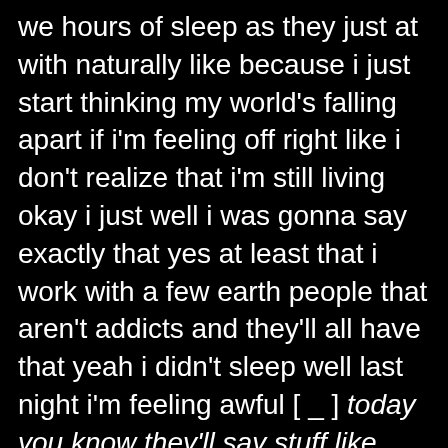we hours of sleep as they just at with naturally like because i just start thinking my world's falling apart if i'm feeling off right like i don't realize that i'm still living okay i just well i was gonna say exactly that yes at least that i work with a few earth people that aren't addicts and they'll all have that yeah i didn't sleep well last night i'm feeling awful [ _ ] today you know they'll say stuff like that you know and that's just normal and they just recognize like okay today's not gonna be a great day i'll get through it tomorrow will be better right for me it's like i gotta give myself a whole freaking pep talk to get through all that [ _ ] yeah it's i and that's so and i don't think we're too far off from earth people i i honestly really don't i i know we have this debate frequently about like how